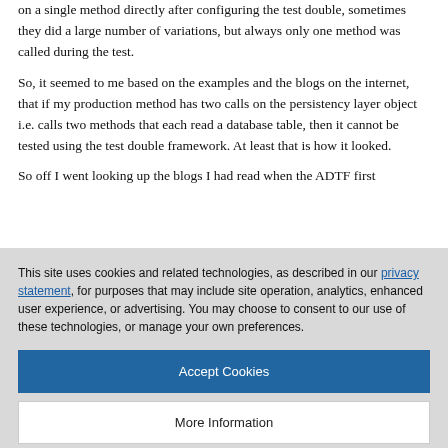on a single method directly after configuring the test double, sometimes they did a large number of variations, but always only one method was called during the test.
So, it seemed to me based on the examples and the blogs on the internet, that if my production method has two calls on the persistency layer object i.e. calls two methods that each read a database table, then it cannot be tested using the test double framework. At least that is how it looked.
So off I went looking up the blogs I had read when the ADTF first
This site uses cookies and related technologies, as described in our privacy statement, for purposes that may include site operation, analytics, enhanced user experience, or advertising. You may choose to consent to our use of these technologies, or manage your own preferences.
Accept Cookies
More Information
Privacy Policy | Powered by: TrustArc